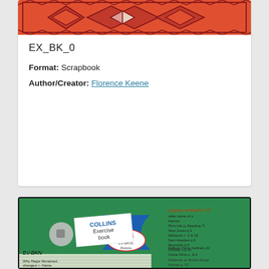[Figure (photo): Top portion of a scrapbook cover with orange/red geometric pattern featuring triangles and diamond shapes in dark red/maroon on orange background]
EX_BK_0
Format: Scrapbook
Author/Creator: Florence Keene
[Figure (photo): Collins Exercise Book cover, green background with blue bowtie/ribbon shape, handwritten notes, label showing EX_BK_N, 11BA written on oval, various handwritten text entries on green and lined paper sections]